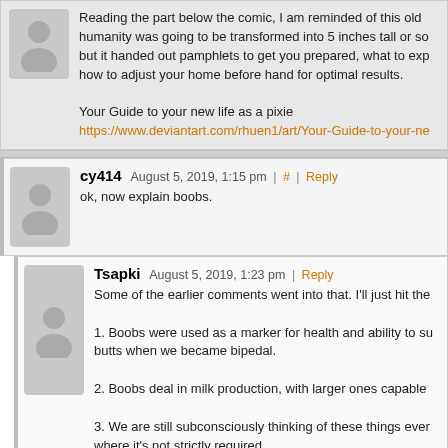Reading the part below the comic, I am reminded of this old humanity was going to be transformed into 5 inches tall or so but it handed out pamphlets to get you prepared, what to exp how to adjust your home before hand for optimal results.

Your Guide to your new life as a pixie
https://www.deviantart.com/rhuen1/art/Your-Guide-to-your-ne
cy414  August 5, 2019, 1:15 pm | # | Reply
ok, now explain boobs.
Tsapki  August 5, 2019, 1:23 pm | Reply
Some of the earlier comments went into that. I'll just hit the
1. Boobs were used as a marker for health and ability to su butts when we became bipedal.
2. Boobs deal in milk production, with larger ones capable
3. We are still subconsciously thinking of these things ever where it's not strictly required.
Waynno  August 5, 2019, 2:12 pm | Reply
Well essentially boobs are people who never bother to rea questions that have already been addressed.